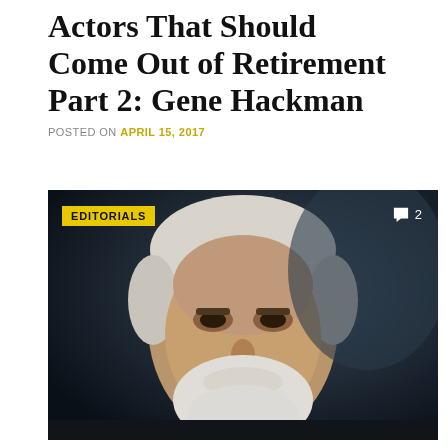Actors That Should Come Out of Retirement Part 2: Gene Hackman
POSTED ON APRIL 15, 2017
[Figure (photo): Close-up portrait of an older man with white hair and a white beard wearing a black turtleneck, looking sternly to the side. A yellow 'EDITORIALS' badge appears in the upper left of the image. A speech bubble icon with the number 2 appears in the upper right.]